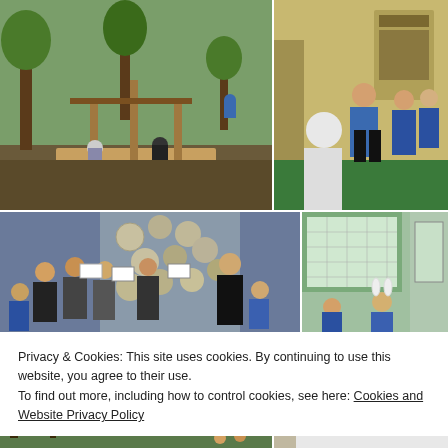[Figure (photo): Children and adults gathered around a large wooden platform/stage structure in an outdoor school garden area with trees]
[Figure (photo): Adults and children in a school corridor/hallway, one adult in blue polo shirt talking to students]
[Figure (photo): Group photo of children and adults holding signs in front of a decorative wall display]
[Figure (photo): Children in a classroom or school setting, one wearing a rabbit/animal ears headband]
Privacy & Cookies: This site uses cookies. By continuing to use this website, you agree to their use.
To find out more, including how to control cookies, see here: Cookies and Website Privacy Policy
Close and accept
[Figure (photo): Outdoor photo with trees and a FINISH line banner/sign]
[Figure (photo): Grid of small nature/garden photos showing flowers and plants]